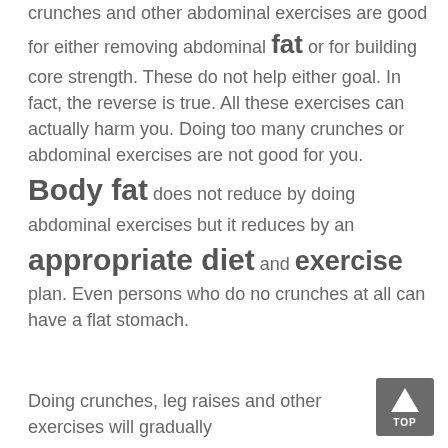crunches and other abdominal exercises are good for either removing abdominal fat or for building core strength. These do not help either goal. In fact, the reverse is true. All these exercises can actually harm you. Doing too many crunches or abdominal exercises are not good for you. Body fat does not reduce by doing abdominal exercises but it reduces by an appropriate diet and exercise plan. Even persons who do no crunches at all can have a flat stomach.
Doing crunches, leg raises and other exercises will gradually